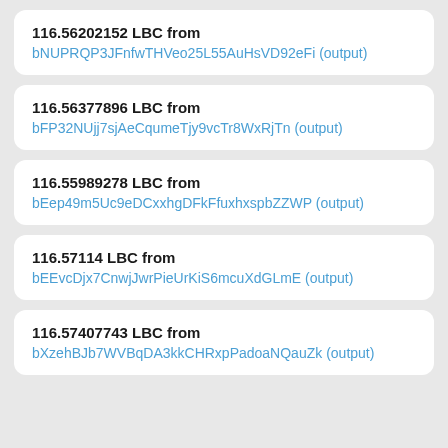116.56202152 LBC from bNUPRQP3JFnfwTHVeo25L55AuHsVD92eFi (output)
116.56377896 LBC from bFP32NUjj7sjAeCqumeTjy9vcTr8WxRjTn (output)
116.55989278 LBC from bEep49m5Uc9eDCxxhgDFkFfuxhxspbZZWP (output)
116.57114 LBC from bEEvcDjx7CnwjJwrPieUrKiS6mcuXdGLmE (output)
116.57407743 LBC from bXzehBJb7WVBqDA3kkCHRxpPadoaNQauZk (output)